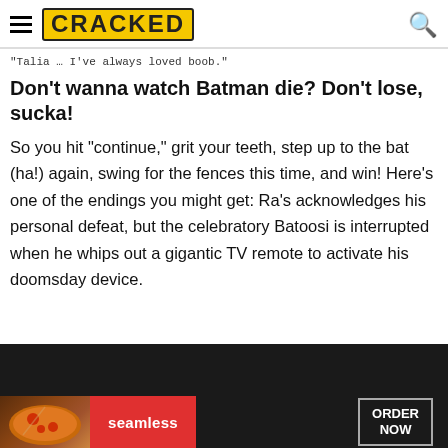CRACKED
"Talia … I've always loved boob."
Don't wanna watch Batman die? Don't lose, sucka!
So you hit "continue," grit your teeth, step up to the bat (ha!) again, swing for the fences this time, and win! Here's one of the endings you might get: Ra's acknowledges his personal defeat, but the celebratory Batoosi is interrupted when he whips out a gigantic TV remote to activate his doomsday device.
[Figure (screenshot): Dark screenshot from a video game or movie scene, bottom portion visible]
[Figure (infographic): Seamless food delivery advertisement banner with pizza image, red Seamless logo, and ORDER NOW button]